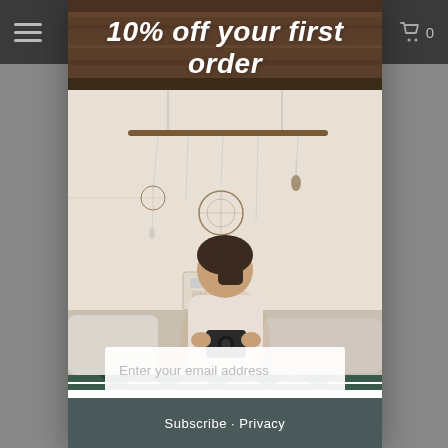[Figure (screenshot): Website screenshot showing a popup modal over a dark navbar and gray background. The popup features a photo of a woman sitting on a bed holding a camera, with boho-style dream catchers on the wall behind her. The popup has a promotional headline overlay.]
10% off your first order
Enter your email address
Subscribe / Privacy